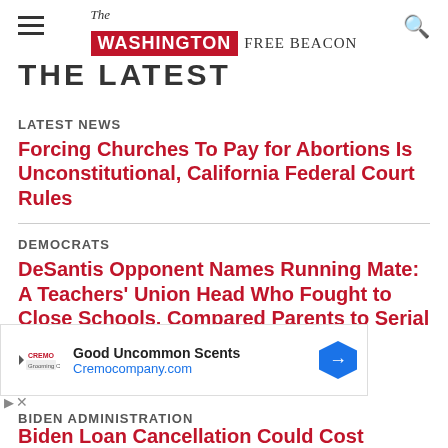The Washington Free Beacon
THE LATEST
LATEST NEWS
Forcing Churches To Pay for Abortions Is Unconstitutional, California Federal Court Rules
DEMOCRATS
DeSantis Opponent Names Running Mate: A Teachers' Union Head Who Fought to Close Schools, Compared Parents to Serial Killers
[Figure (other): Advertisement banner for Cremo company showing logo, tagline 'Good Uncommon Scents', url 'Cremocompany.com', and navigation arrow icon]
BIDEN ADMINISTRATION
Biden Loan Cancellation Could Cost